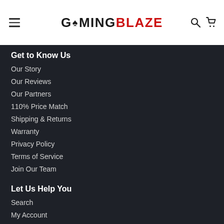GAMING BLAZE (logo with hamburger menu, search and cart icons)
Get to Know Us
Our Story
Our Reviews
Our Partners
110% Price Match
Shipping & Returns
Warranty
Privacy Policy
Terms of Service
Join Our Team
Let Us Help You
Search
My Account
Live Chat